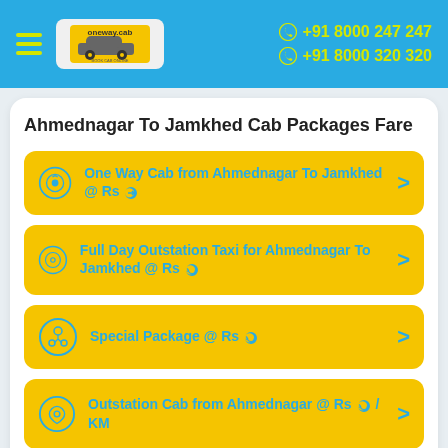[Figure (logo): oneway.cab logo with yellow background and car graphic]
+91 8000 247 247
+91 8000 320 320
Ahmednagar To Jamkhed Cab Packages Fare
One Way Cab from Ahmednagar To Jamkhed @ Rs
Full Day Outstation Taxi for Ahmednagar To Jamkhed @ Rs
Special Package @ Rs
Outstation Cab from Ahmednagar @ Rs / KM